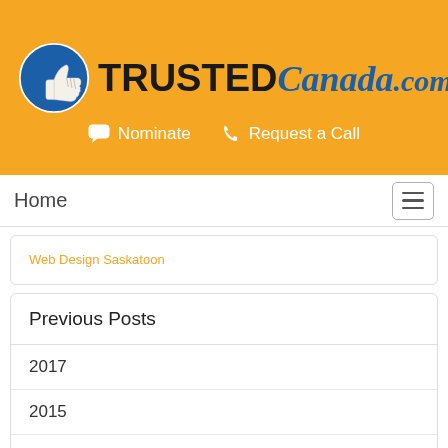[Figure (logo): TrustedCanada.com logo with blue circle thumbs-up icon and text TRUSTED Canada.com]
Nominate  Request a Call
Home
Web Design Saskatoon
Previous Posts
2017
2015
2014
2013